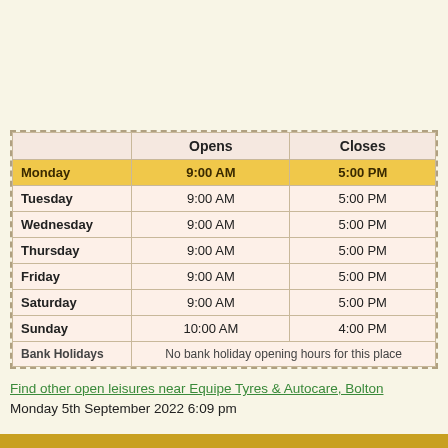|  | Opens | Closes |
| --- | --- | --- |
| Monday | 9:00 AM | 5:00 PM |
| Tuesday | 9:00 AM | 5:00 PM |
| Wednesday | 9:00 AM | 5:00 PM |
| Thursday | 9:00 AM | 5:00 PM |
| Friday | 9:00 AM | 5:00 PM |
| Saturday | 9:00 AM | 5:00 PM |
| Sunday | 10:00 AM | 4:00 PM |
| Bank Holidays | No bank holiday opening hours for this place |  |
Find other open leisures near Equipe Tyres & Autocare, Bolton
Monday 5th September 2022 6:09 pm